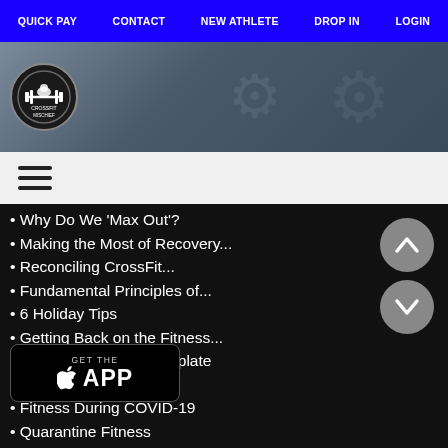QUICK PAY   CONTACT   NEW ATHLETE   DROP IN   LOGIN
[Figure (photo): CrossFit Mischief gym hero banner image with logo on dark athletic background]
[Figure (other): Hamburger menu icon (three horizontal lines)]
Why Do We 'Max Out'?
Making the Most of Recovery...
Reconciling CrossFit...
Fundamental Principles of...
6 Holiday Tips
Getting Back on the Fitness...
"Paleo" Nutritional Template
Functional Movement...
Fitness During COVID-19
Quarantine Fitness
"Murph": Reflections
The Misuse of Training Gear...
CrossFit Competition Prep...
Movement & Modifications
Choosing the Right Dumbbell
2020 C... Positives
Training Time
Enhancing the Training...Music
[Figure (other): Scroll up chevron button (grey circle with up arrow)]
[Figure (other): Scroll down chevron button (grey circle with down arrow)]
[Figure (screenshot): App Store download badge showing apple logo, GET THE, APP]